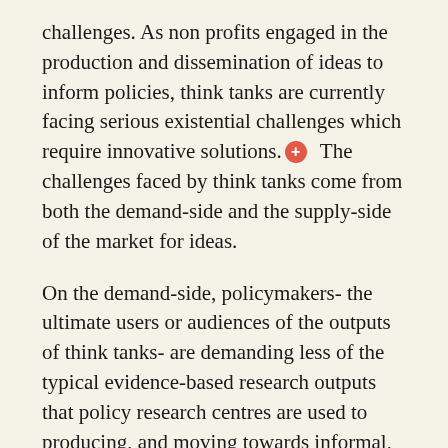challenges. As non profits engaged in the production and dissemination of ideas to inform policies, think tanks are currently facing serious existential challenges which require innovative solutions. [+]  The challenges faced by think tanks come from both the demand-side and the supply-side of the market for ideas.
On the demand-side, policymakers- the ultimate users or audiences of the outputs of think tanks- are demanding less of the typical evidence-based research outputs that policy research centres are used to producing, and moving towards informal, shorter, and more interactive outputs. In Africa, the appetite for evidence among policymakers remains low and mainly influenced by ideological and political...